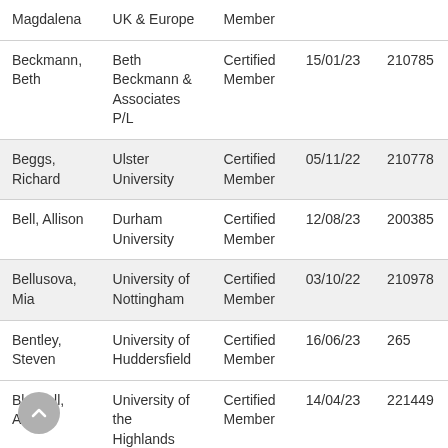| Name | Organisation | Type | Date | ID |
| --- | --- | --- | --- | --- |
| Magdalena | UK & Europe | Member |  |  |
| Beckmann, Beth | Beth Beckmann & Associates P/L | Certified Member | 15/01/23 | 210785 |
| Beggs, Richard | Ulster University | Certified Member | 05/11/22 | 210778 |
| Bell, Allison | Durham University | Certified Member | 12/08/23 | 200385 |
| Bellusova, Mia | University of Nottingham | Certified Member | 03/10/22 | 210978 |
| Bentley, Steven | University of Huddersfield | Certified Member | 16/06/23 | 265 |
| Blackall, Andy | University of the Highlands and Islands | Certified Member | 14/04/23 | 221449 |